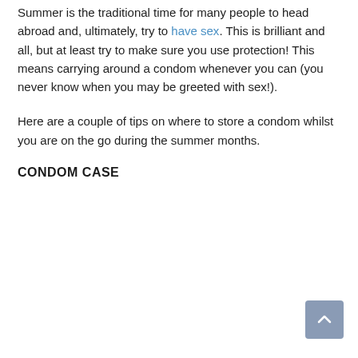Summer is the traditional time for many people to head abroad and, ultimately, try to have sex. This is brilliant and all, but at least try to make sure you use protection! This means carrying around a condom whenever you can (you never know when you may be greeted with sex!).
Here are a couple of tips on where to store a condom whilst you are on the go during the summer months.
CONDOM CASE